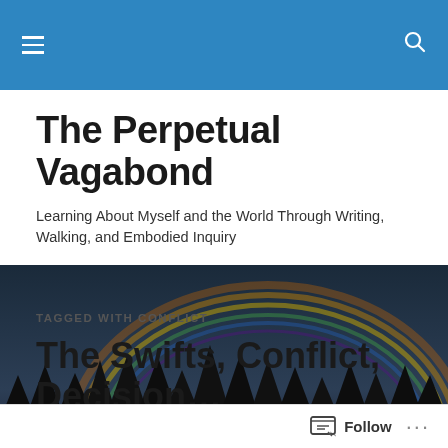The Perpetual Vagabond — navigation bar
The Perpetual Vagabond
Learning About Myself and the World Through Writing, Walking, and Embodied Inquiry
[Figure (photo): Dark panoramic photo of a rainbow arcing over a silhouetted treeline at dusk]
TAGGED WITH CONFLICT
The Swifts, Conflict, Decision…
Follow